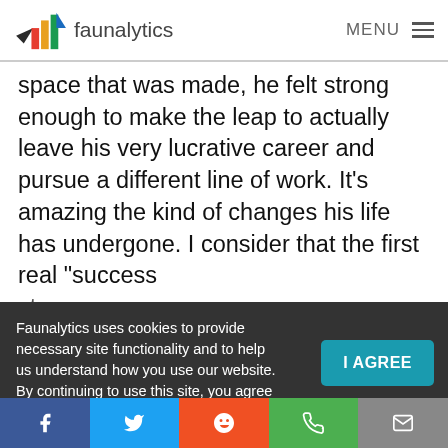faunalytics | MENU
space that was made, he felt strong enough to make the leap to actually leave his very lucrative career and pursue a different line of work. It's amazing the kind of changes his life has undergone. I consider that the first real “success stor” of the...
Faunalytics uses cookies to provide necessary site functionality and to help us understand how you use our website. By continuing to use this site, you agree to
I AGREE